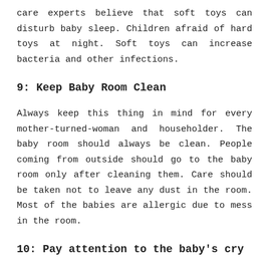care experts believe that soft toys can disturb baby sleep. Children afraid of hard toys at night. Soft toys can increase bacteria and other infections.
9: Keep Baby Room Clean
Always keep this thing in mind for every mother-turned-woman and householder. The baby room should always be clean. People coming from outside should go to the baby room only after cleaning them. Care should be taken not to leave any dust in the room. Most of the babies are allergic due to mess in the room.
10: Pay attention to the baby's cry
Some people believe that baby cry is natural. But this thinking is wrong. If the baby is crying, it means that he needs something. The baby often cries to eat and sleep